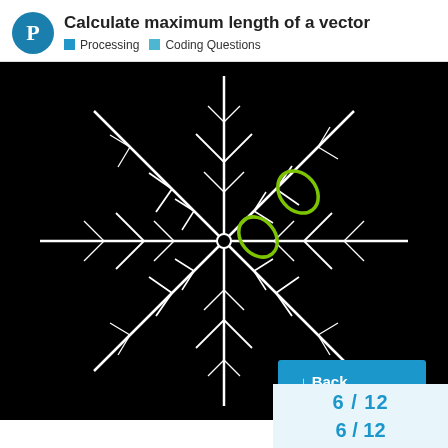Calculate maximum length of a vector
Processing   Coding Questions
[Figure (screenshot): A white snowflake illustration on a black background. Two green oval/leaf shapes highlight specific points on the snowflake arms, one near the upper-right area and one slightly below and to the left. A blue 'Back' button with a downward arrow is in the lower-right of the image.]
6 / 12